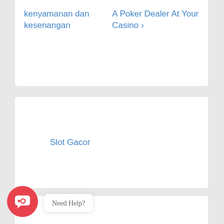kenyamanan dan kesenangan
A Poker Dealer At Your Casino ›
Slot Gacor
slot hoki
slot tertinggi
[Figure (illustration): Chat button with smiley face icon and 'Need Help?' tooltip in cursive script]